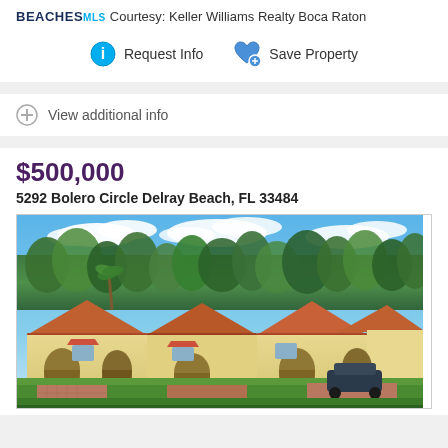BEACHES MLS Courtesy: Keller Williams Realty Boca Raton
Request Info   Save Property
View additional info
$500,000
5292 Bolero Circle Delray Beach, FL 33484
[Figure (photo): Aerial view of Mediterranean-style townhomes with terracotta tile roofs, yellow stucco walls, lush green lawns, and brick driveways in Delray Beach, FL. Blue sky with clouds in background, trees visible.]